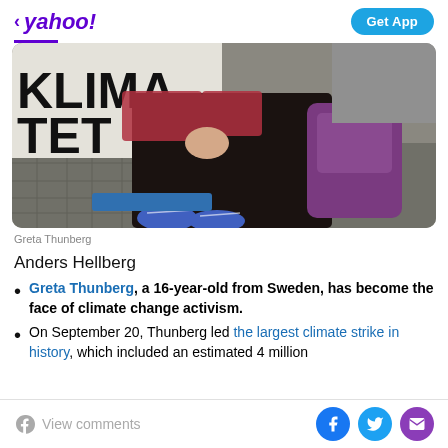< yahoo! | Get App
[Figure (photo): Photo of Greta Thunberg sitting on pavement in front of a sign reading 'KLIMATET', wearing a plaid shirt, with a purple backpack beside her and blue sneakers visible.]
Greta Thunberg
Anders Hellberg
Greta Thunberg, a 16-year-old from Sweden, has become the face of climate change activism.
On September 20, Thunberg led the largest climate strike in history, which included an estimated 4 million
View comments | [Facebook] [Twitter] [Email]